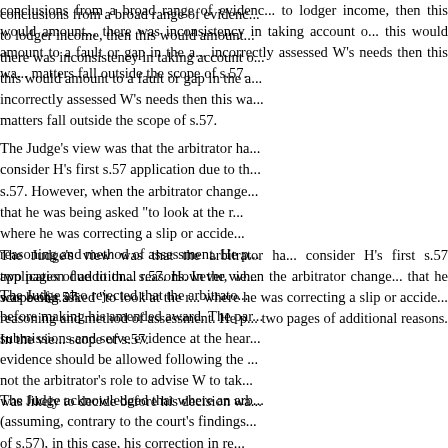conclusions from a broad range of evidence... to lodger income, then this would amount... there was inconsistency in taking account of... this would amount to a fault or gap in the a... incorrectly assessed W's needs then this wa... matters fall outside the scope of s.57.
The Judge's view was that the arbitrator ha... consider H's first s.57 application due to th... s.57. However, when the arbitrator change... that he was being asked "to look at the r... where he was correcting a slip or accide... reasoning and method of assessment. He p... two pages of additional reasons. In the vie... scope of s.57.
The Judge also rejected that the arbitrato... before making his amended award. The par... submissions and serve evidence at the hear... evidence should be allowed following the ... not the arbitrator's role to advise W to tak... was likely to decide before his decision wa...
The Judge acknowledged that where an arb... (assuming, contrary to the court's findings... of s.57), in this case, his correction in re... should have been given an opportunity... demonstrate that a significantly different o... submissions had been permitted. The arbi...